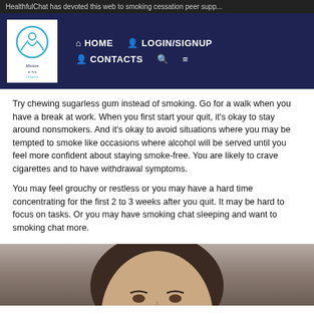HealthfulChat has devoted this web to smoking cessation peer supp...
[Figure (logo): Website logo with stylized figure and cursive text]
Try chewing sugarless gum instead of smoking. Go for a walk when you have a break at work. When you first start your quit, it's okay to stay around nonsmokers. And it's okay to avoid situations where you may be tempted to smoke like occasions where alcohol will be served until you feel more confident about staying smoke-free. You are likely to crave cigarettes and to have withdrawal symptoms.
You may feel grouchy or restless or you may have a hard time concentrating for the first 2 to 3 weeks after you quit. It may be hard to focus on tasks. Or you may have smoking chat sleeping and want to smoking chat more.
[Figure (photo): Partial face of a person, cropped at the top of the image]